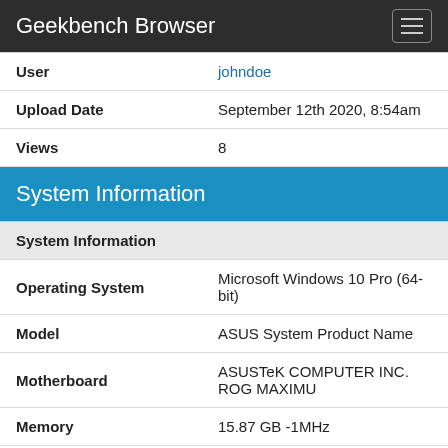Geekbench Browser
| Field | Value |
| --- | --- |
| User | johndoe |
| Upload Date | September 12th 2020, 8:54am |
| Views | 8 |
System Information
| Property | Value |
| --- | --- |
| System Information |  |
| Operating System | Microsoft Windows 10 Pro (64-bit) |
| Model | ASUS System Product Name |
| Motherboard | ASUSTeK COMPUTER INC. ROG MAXIMU |
| Memory | 15.87 GB -1MHz |
| Northbridge | Intel ID9B33 05 |
| Southbridge | Intel ID0685 00 |
| BIOS | American Megatrends Inc. 0098 |
| Processor Information |  |